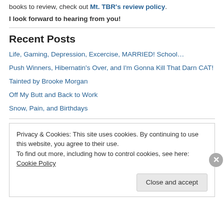books to review, check out Mt. TBR's review policy.
I look forward to hearing from you!
Recent Posts
Life, Gaming, Depression, Excercise, MARRIED! School…
Push Winners, Hibernatin's Over, and I'm Gonna Kill That Darn CAT!
Tainted by Brooke Morgan
Off My Butt and Back to Work
Snow, Pain, and Birthdays
Privacy & Cookies: This site uses cookies. By continuing to use this website, you agree to their use. To find out more, including how to control cookies, see here: Cookie Policy